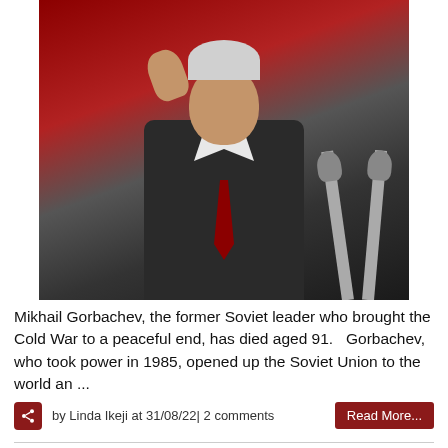[Figure (photo): Mikhail Gorbachev standing at a podium with microphones, wearing a dark suit and red tie, raising his right hand, in front of red draped background]
Mikhail Gorbachev, the former Soviet leader who brought the Cold War to a peaceful end, has died aged 91.   Gorbachev, who took power in 1985, opened up the Soviet Union to the world an ...
by Linda Ikeji at 31/08/22| 2 comments
Lady recounts how she almost lost her voice after speaking with a fraudster who sent her airtime
[Figure (photo): Partial bottom image, appears to show a blue circular element against a gradient background]